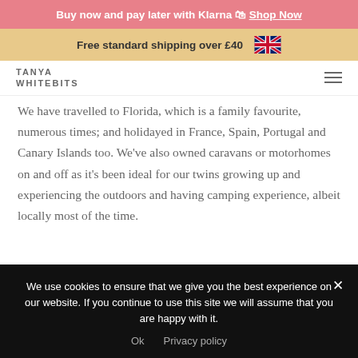Buy now and pay later with Klarna 🛍 Shop Now
Free standard shipping over £40
TANYA WHITEBITS
We have travelled to Florida, which is a family favourite, numerous times; and holidayed in France, Spain, Portugal and Canary Islands too. We've also owned caravans or motorhomes on and off as it's been ideal for our twins growing up and experiencing the outdoors and having camping experience, albeit locally most of the time.
We use cookies to ensure that we give you the best experience on our website. If you continue to use this site we will assume that you are happy with it.
Ok   Privacy policy